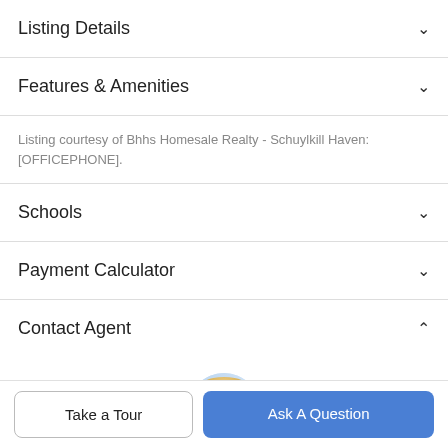Listing Details
Features & Amenities
Listing courtesy of Bhhs Homesale Realty - Schuylkill Haven: [OFFICEPHONE].
Schools
Payment Calculator
Contact Agent
[Figure (photo): Circular profile photo of a blonde female real estate agent with an orange badge icon overlay]
Take a Tour
Ask A Question